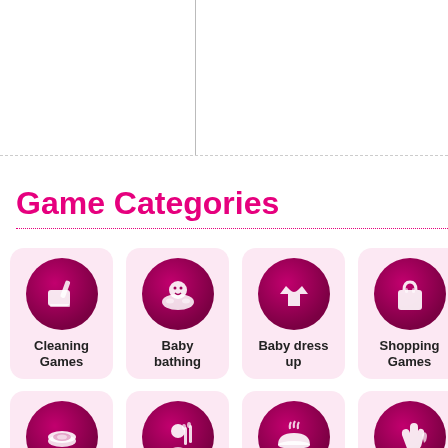Game Categories
Cleaning Games
Baby bathing
Baby dress up
Shopping Games
Makeup Games
Makeover Games
Cooking Games
Nail Games